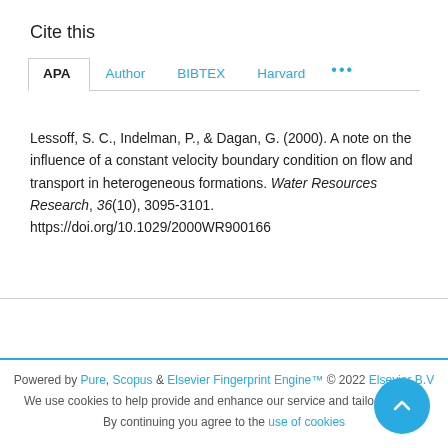Cite this
APA | Author | BIBTEX | Harvard | ...
Lessoff, S. C., Indelman, P., & Dagan, G. (2000). A note on the influence of a constant velocity boundary condition on flow and transport in heterogeneous formations. Water Resources Research, 36(10), 3095-3101. https://doi.org/10.1029/2000WR900166
Powered by Pure, Scopus & Elsevier Fingerprint Engine™ © 2022 Elsevier B.V
We use cookies to help provide and enhance our service and tailor content. By continuing you agree to the use of cookies